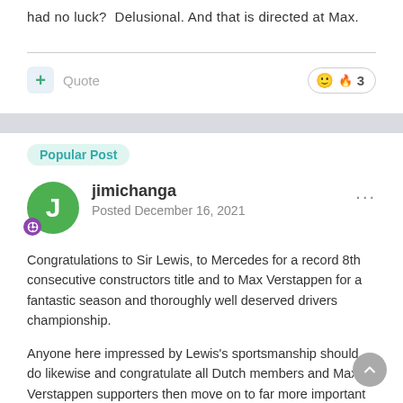had no luck?  Delusional. And that is directed at Max.
Quote   🙂 3
Popular Post
jimichanga
Posted December 16, 2021
Congratulations to Sir Lewis, to Mercedes for a record 8th consecutive constructors title and to Max Verstappen for a fantastic season and thoroughly well deserved drivers championship.

Anyone here impressed by Lewis's sportsmanship should do likewise and congratulate all Dutch members and Max Verstappen supporters then move on to far more important concerns. The bitterness on show here brings shame to this once very respectful forum.